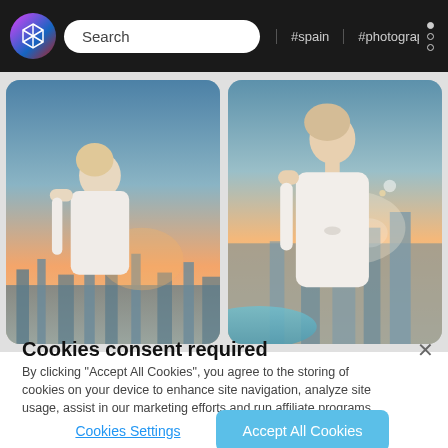[Figure (screenshot): Dark navigation bar with a logo, search box, hashtag navigation links (#spain, #photography), and three-dot menu icon]
[Figure (photo): Two photographs side by side of a woman in a white off-shoulder dress against a sunset skyline backdrop]
Cookies consent required
By clicking "Accept All Cookies", you agree to the storing of cookies on your device to enhance site navigation, analyze site usage, assist in our marketing efforts and run affiliate programs.
Cookies Settings
Accept All Cookies